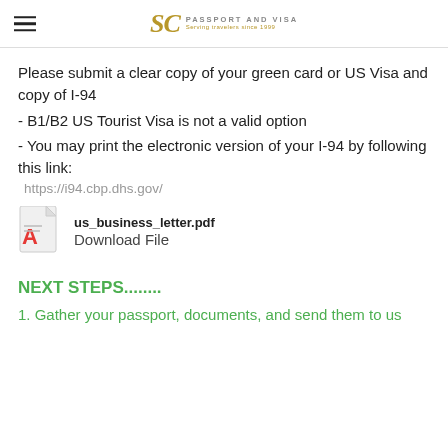SC PASSPORT AND VISA Serving travelers since 1999
Please submit a clear copy of your green card or US Visa and copy of I-94
- B1/B2 US Tourist Visa is not a valid option
- You may print the electronic version of your I-94 by following this link:
https://i94.cbp.dhs.gov/
[Figure (other): PDF file icon (red Adobe Acrobat style)]
us_business_letter.pdf Download File
NEXT STEPS........
1. Gather your passport, documents, and send them to us